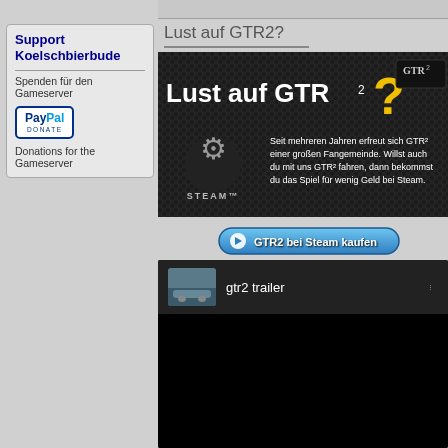Support Koelschbierbude
Spenden für den Gameserver
[Figure (logo): PayPal Donate button logo]
Donations for the Gameserver
Lust auf GTR2?
[Figure (infographic): GTR2 promotional banner with dark carbon fiber background. Large text: Lust auf GTR2? with yellow question mark. Includes GTR2 logo, Steam logo and text, and description: Seit mehreren Jahren erfreut sich GTR² einer großen Fangemeinde. Willst auch du mit uns GTR² fahren, dann bekommst du das Spiel für wenig Geld bei Steam.]
[Figure (other): Blue rounded button: GTR2 bei Steam kaufen with play icon]
[Figure (screenshot): YouTube-style embedded video player showing gtr2 trailer with thumbnail of racing car and black video area]